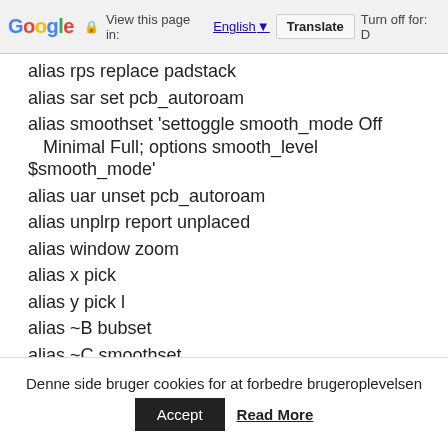Google  View this page in: English [▼]  Translate  Turn off for: D
alias rps replace padstack
alias sar set pcb_autoroam
alias smoothset 'settoggle smooth_mode Off Minimal Full; options smooth_level $smooth_mode'
alias uar unset pcb_autoroam
alias unplrp report unplaced
alias window zoom
alias x pick
alias y pick l
alias ~B bubset
alias ~C smoothset
alias ~D delete
alias ~N new
Denne side bruger cookies for at forbedre brugeroplevelsen
Accept   Read More